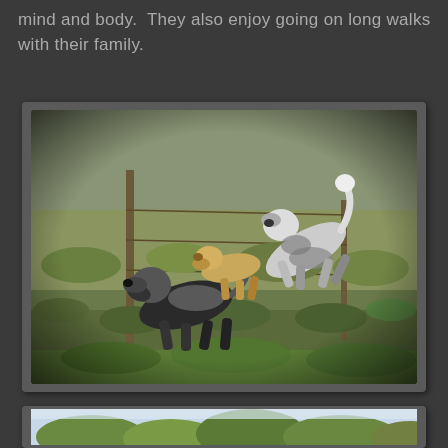mind and body.  They also enjoy going on long walks with their family.
[Figure (photo): Three poodle-type dogs playing and running through tall grass and scrubby vegetation in an outdoor field. The dogs are black-and-white/grey in color. The photo has a dark vignette border effect.]
[Figure (photo): Partial view of the top of trees and sky, likely another outdoor photo partially visible at the bottom of the page.]